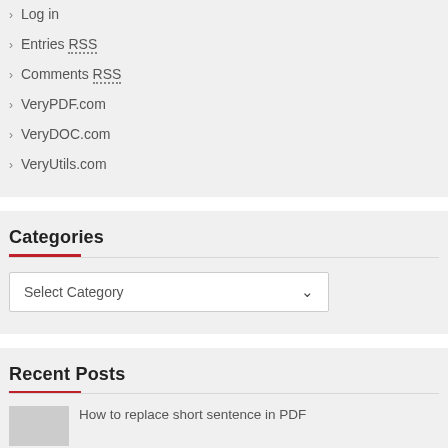Log in
Entries RSS
Comments RSS
VeryPDF.com
VeryDOC.com
VeryUtils.com
Categories
Select Category
Recent Posts
How to replace short sentence in PDF